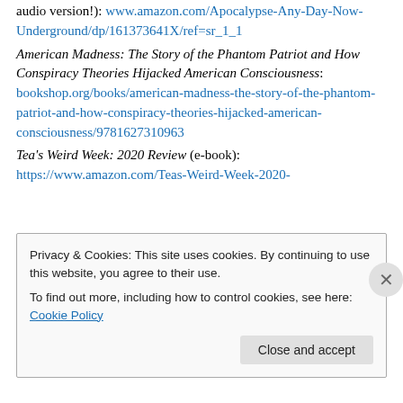Apocalypse Any Day Now (there is a print, ebook, and audio version!): www.amazon.com/Apocalypse-Any-Day-Now-Underground/dp/161373641X/ref=sr_1_1
American Madness: The Story of the Phantom Patriot and How Conspiracy Theories Hijacked American Consciousness: bookshop.org/books/american-madness-the-story-of-the-phantom-patriot-and-how-conspiracy-theories-hijacked-american-consciousness/9781627310963
Tea's Weird Week: 2020 Review (e-book): https://www.amazon.com/Teas-Weird-Week-2020-
Privacy & Cookies: This site uses cookies. By continuing to use this website, you agree to their use. To find out more, including how to control cookies, see here: Cookie Policy
Close and accept